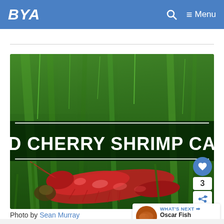BYA | Menu
[Figure (photo): Red cherry shrimp on green aquatic plants with text overlay 'RED CHERRY SHRIMP CARE']
Photo by Sean Murray
WHAT'S NEXT → Oscar Fish Care Guide:...